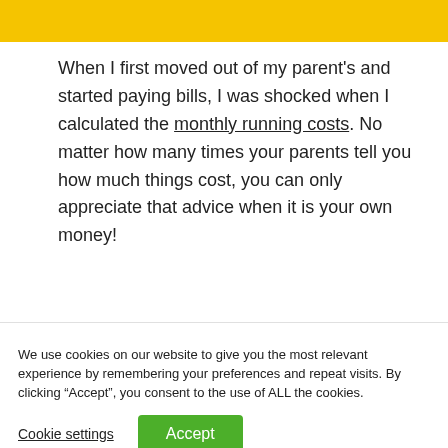[Figure (photo): Yellow banner image at top of page, partially visible]
When I first moved out of my parent's and started paying bills, I was shocked when I calculated the monthly running costs. No matter how many times your parents tell you how much things cost, you can only appreciate that advice when it is your own money!
We use cookies on our website to give you the most relevant experience by remembering your preferences and repeat visits. By clicking “Accept”, you consent to the use of ALL the cookies.
Cookie settings  Accept